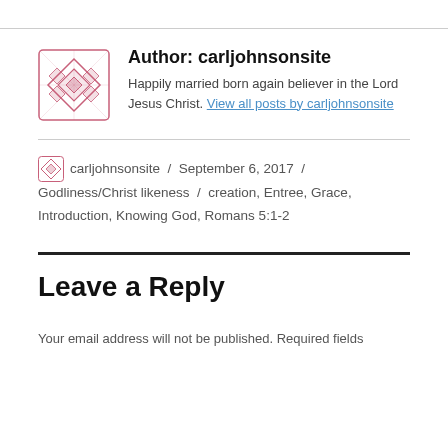[Figure (logo): Decorative geometric diamond pattern logo in pink/red for carljohnsonsite author avatar]
Author: carljohnsonsite
Happily married born again believer in the Lord Jesus Christ. View all posts by carljohnsonsite
carljohnsonsite / September 6, 2017 / Godliness/Christ likeness / creation, Entree, Grace, Introduction, Knowing God, Romans 5:1-2
Leave a Reply
Your email address will not be published. Required fields